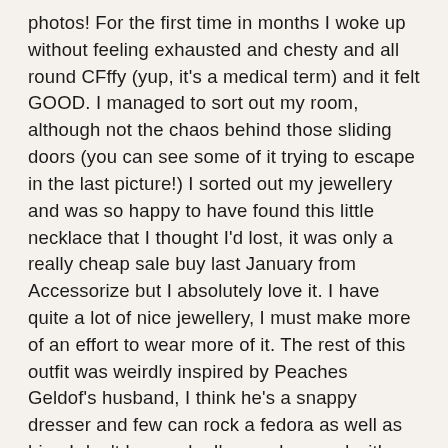photos! For the first time in months I woke up without feeling exhausted and chesty and all round CFffy (yup, it's a medical term) and it felt GOOD. I managed to sort out my room, although not the chaos behind those sliding doors (you can see some of it trying to escape in the last picture!) I sorted out my jewellery and was so happy to have found this little necklace that I thought I'd lost, it was only a really cheap sale buy last January from Accessorize but I absolutely love it. I have quite a lot of nice jewellery, I must make more of an effort to wear more of it. The rest of this outfit was weirdly inspired by Peaches Geldof's husband, I think he's a snappy dresser and few can rock a fedora as well as him. I don't know why I'm so obsessed with Peaches and her family and her instagram. I only started following because she has a cute dog (see how easily swayed I am?) I don't particularly like her, any babies in general or the smug, No1 Mum vibes but I'm just seriously obsessed to the point where I bring them up in general conversations sometimes like I know them.